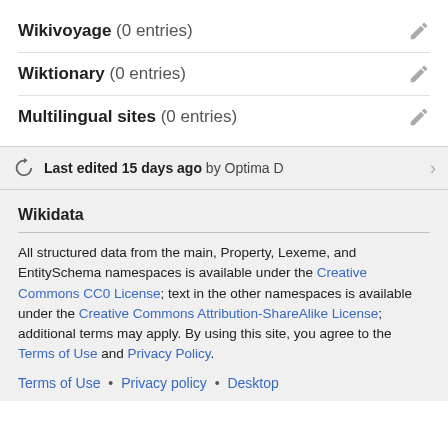Wikivoyage (0 entries)
Wiktionary (0 entries)
Multilingual sites (0 entries)
Last edited 15 days ago by Optima D
Wikidata
All structured data from the main, Property, Lexeme, and EntitySchema namespaces is available under the Creative Commons CC0 License; text in the other namespaces is available under the Creative Commons Attribution-ShareAlike License; additional terms may apply. By using this site, you agree to the Terms of Use and Privacy Policy.
Terms of Use • Privacy policy • Desktop